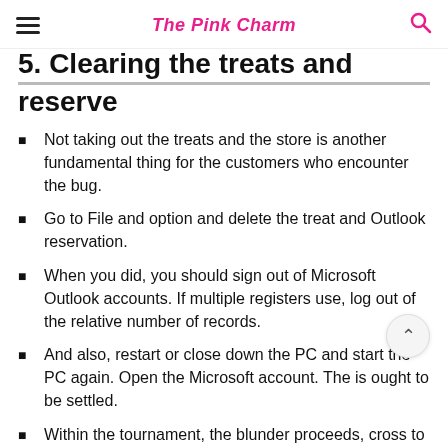The Pink Charm
5. Clearing the treats and reserve
Not taking out the treats and the store is another fundamental thing for the customers who encounter the bug.
Go to File and option and delete the treat and Outlook reservation.
When you did, you should sign out of Microsoft Outlook accounts. If multiple registers use, log out of the relative number of records.
And also, restart or close down the PC and start the PC again. Open the Microsoft account. The is ought to be settled.
Within the tournament, the blunder proceeds, cross to pick out the 3rd alternative and deal with